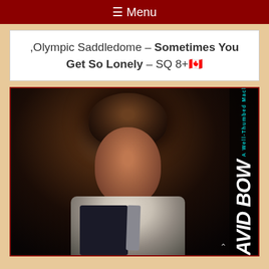≡ Menu
,Olympic Saddledome – Sometimes You Get So Lonely – SQ 8+.🇨🇦
[Figure (photo): Photo of David Bowie performing on stage, wearing a white shirt and dark vest with a tie, playing guitar. Overlaid with vertical album text reading 'A Well-Thumbed Machine' and 'DAVID BOWIE' in large italic white letters on the right side.]